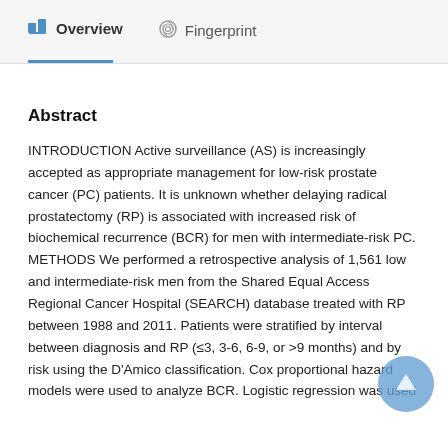Overview   Fingerprint
Abstract
INTRODUCTION Active surveillance (AS) is increasingly accepted as appropriate management for low-risk prostate cancer (PC) patients. It is unknown whether delaying radical prostatectomy (RP) is associated with increased risk of biochemical recurrence (BCR) for men with intermediate-risk PC. METHODS We performed a retrospective analysis of 1,561 low and intermediate-risk men from the Shared Equal Access Regional Cancer Hospital (SEARCH) database treated with RP between 1988 and 2011. Patients were stratified by interval between diagnosis and RP (≤3, 3-6, 6-9, or >9 months) and by risk using the D'Amico classification. Cox proportional hazard models were used to analyze BCR. Logistic regression was used